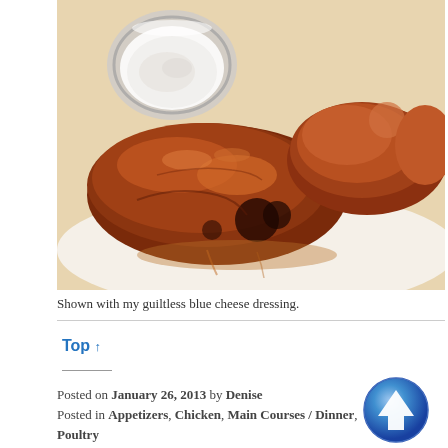[Figure (photo): Close-up photo of glazed BBQ chicken pieces on a white plate, with a small glass bowl of blue cheese dressing in the upper left corner. The chicken appears caramelized and brown with a sticky glaze.]
Shown with my guiltless blue cheese dressing.
Top ↑
Posted on January 26, 2013 by Denise
Posted in Appetizers, Chicken, Main Courses / Dinner,